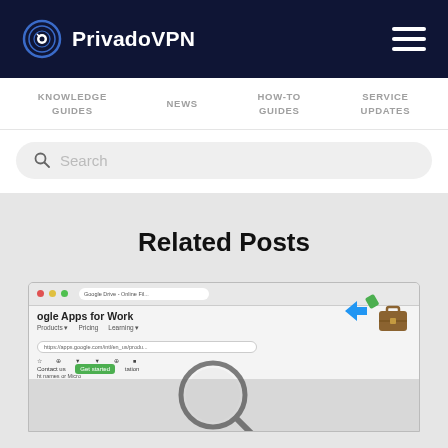PrivadoVPN
KNOWLEDGE GUIDES
NEWS
HOW-TO GUIDES
SERVICE UPDATES
Search
Related Posts
[Figure (screenshot): Screenshot of Google Apps for Work website shown through a magnifying glass overlay, with a briefcase icon on the right side]